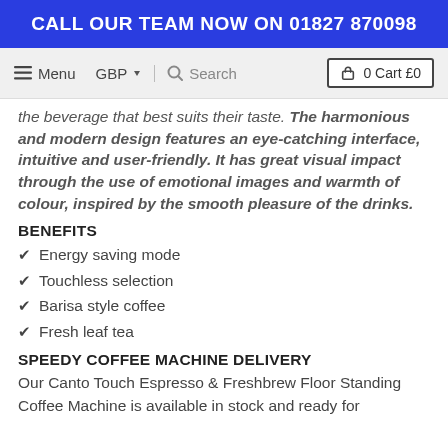CALL OUR TEAM NOW ON 01827 870098
Menu  GBP  Search  0 Cart £0
the beverage that best suits their taste. The harmonious and modern design features an eye-catching interface, intuitive and user-friendly. It has great visual impact through the use of emotional images and warmth of colour, inspired by the smooth pleasure of the drinks.
BENEFITS
Energy saving mode
Touchless selection
Barisa style coffee
Fresh leaf tea
SPEEDY COFFEE MACHINE DELIVERY
Our Canto Touch Espresso & Freshbrew Floor Standing Coffee Machine is available in stock and ready for